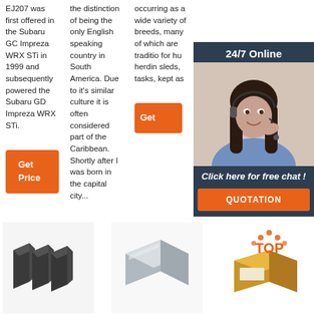EJ207 was first offered in the Subaru GC Impreza WRX STi in 1999 and subsequently powered the Subaru GD Impreza WRX STi.
the distinction of being the only English speaking country in South America. Due to it's similar culture it is often considered part of the Caribbean. Shortly after I was born in the capital city...
occurring as a wide variety of breeds, many of which are traditionally for hunting, herding, sleds, tasks, kept as
[Figure (photo): Customer service representative woman with headset, 24/7 Online chat overlay with dark blue background]
[Figure (photo): Dark grey rectangular carbon/graphite blocks]
[Figure (photo): Silver/grey metallic rectangular block]
[Figure (other): Brown cardboard box with TOP logo in orange and red dots/arrows]